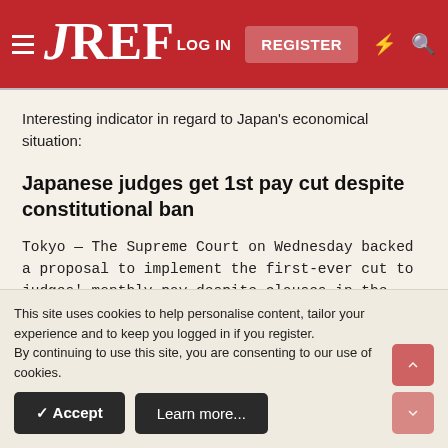JREF — LOG IN  REGISTER
Interesting indicator in regard to Japan's economical situation:
Japanese judges get 1st pay cut despite constitutional ban
Tokyo —  The Supreme Court on Wednesday backed a proposal to implement the first-ever cut to judges' monthly pay despite clauses in the Constitution prohibiting such a move.
This site uses cookies to help personalise content, tailor your experience and to keep you logged in if you register.
By continuing to use this site, you are consenting to our use of cookies.